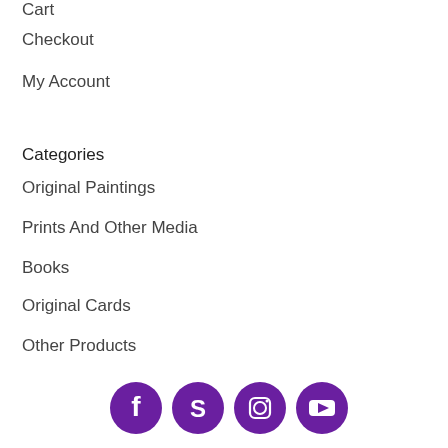Cart
Checkout
My Account
Categories
Original Paintings
Prints And Other Media
Books
Original Cards
Other Products
[Figure (infographic): Four purple circular social media icons: Facebook, Skype, Instagram, YouTube]